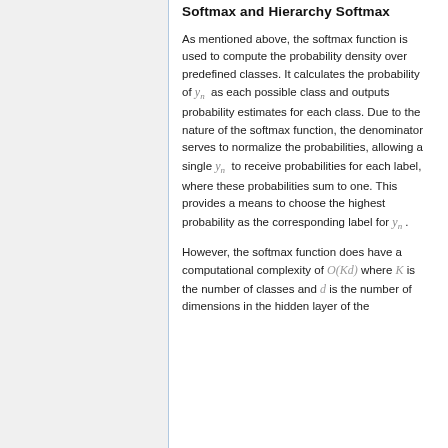Softmax and Hierarchy Softmax
As mentioned above, the softmax function is used to compute the probability density over predefined classes. It calculates the probability of y_n as each possible class and outputs probability estimates for each class. Due to the nature of the softmax function, the denominator serves to normalize the probabilities, allowing a single y_n to receive probabilities for each label, where these probabilities sum to one. This provides a means to choose the highest probability as the corresponding label for y_n.
However, the softmax function does have a computational complexity of O(Kd) where K is the number of classes and d is the number of dimensions in the hidden layer of the